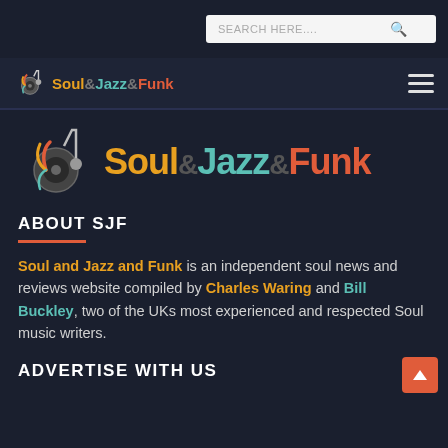SEARCH HERE....
[Figure (logo): Soul&Jazz&Funk small logo in top navigation bar with musical note icon]
[Figure (logo): Soul&Jazz&Funk large logo with musical note icon — Soul in gold, Jazz in teal, Funk in orange-red]
ABOUT SJF
Soul and Jazz and Funk is an independent soul news and reviews website compiled by Charles Waring and Bill Buckley, two of the UKs most experienced and respected Soul music writers.
ADVERTISE WITH US